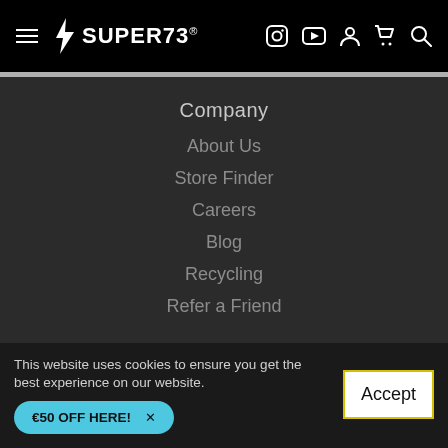SUPER73 navigation header with hamburger menu, logo, and icons for Instagram, YouTube, account, cart, search
Company
About Us
Store Finder
Careers
Blog
Recycling
Refer a Friend
This website uses cookies to ensure you get the best experience on our website
€50 OFF HERE!
Accept